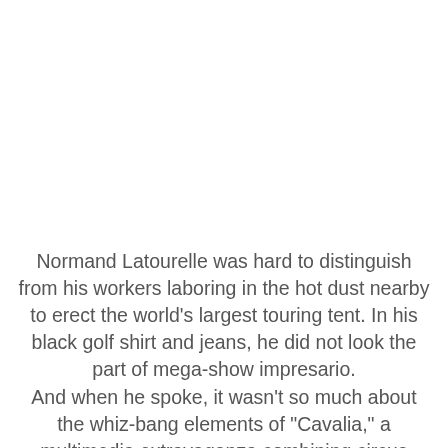Normand Latourelle was hard to distinguish from his workers laboring in the hot dust nearby to erect the world's largest touring tent. In his black golf shirt and jeans, he did not look the part of mega-show impresario.
And when he spoke, it wasn't so much about the whiz-bang elements of "Cavalia," a multimedia extravaganza combining circus